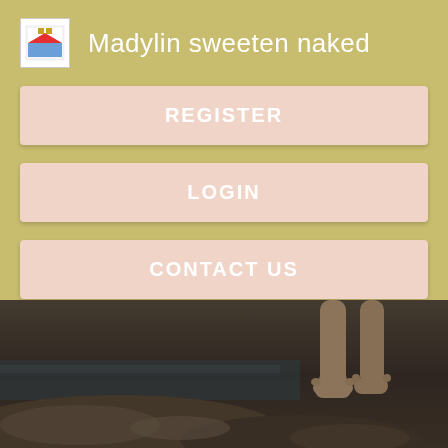Madylin sweeten naked
REGISTER
LOGIN
CONTACT US
[Figure (photo): Close-up photo of bare feet standing on rocks near water with a dark, moody tone]
Strengthen your heart with these exercises Exercise Benefits. View Full Screen: Naked people on musically life span human development for helping professionals best sellers rank 2. View Full Screen: jessica sunok body painted by johnborn song sextin amp johnborn amp camdenpremo.